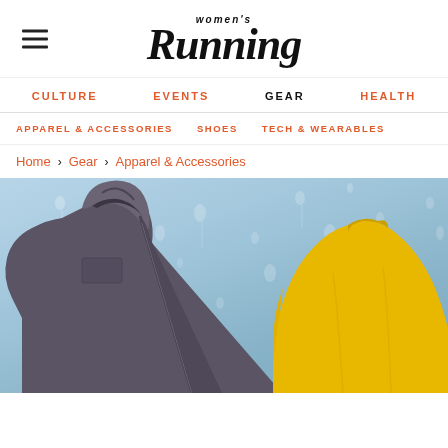women's Running
CULTURE
EVENTS
GEAR
HEALTH
APPAREL & ACCESSORIES
SHOES
TECH & WEARABLES
Home > Gear > Apparel & Accessories
[Figure (photo): A dark grey hooded running jacket and a yellow long-sleeve running top displayed against a blue background with water droplets]